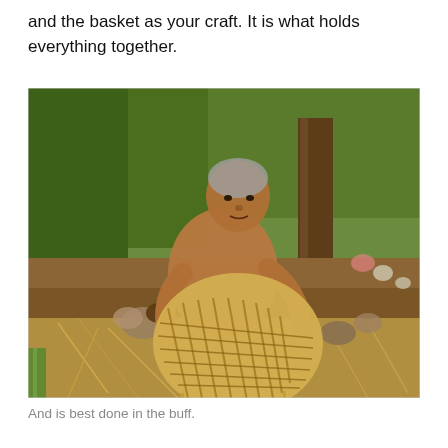and the basket as your craft. It is what holds everything together.
[Figure (photo): An elderly shirtless man sitting outdoors on hay/straw, working on weaving a large bamboo basket. He is surrounded by natural materials including straw, bamboo, and rocks. Green vegetation and a tree trunk are visible in the background.]
And is best done in the buff.